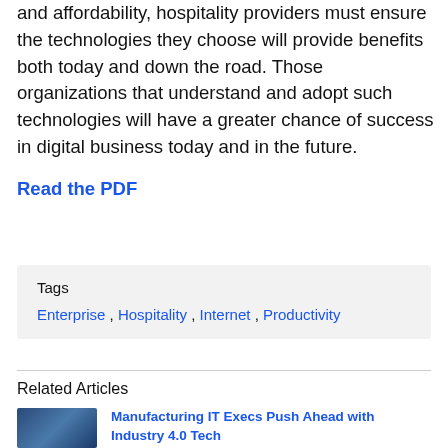and affordability, hospitality providers must ensure the technologies they choose will provide benefits both today and down the road. Those organizations that understand and adopt such technologies will have a greater chance of success in digital business today and in the future.
Read the PDF
Tags
Enterprise, Hospitality, Internet, Productivity
Related Articles
Manufacturing IT Execs Push Ahead with Industry 4.0 Tech